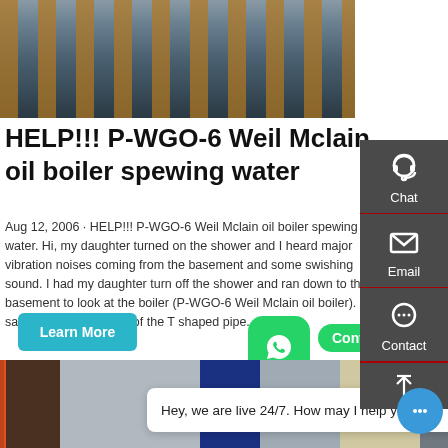[Figure (photo): Industrial boiler room with large yellow pipes and machinery]
HELP!!! P-WGO-6 Weil Mclain oil boiler spewing water
Aug 12, 2006 · HELP!!! P-WGO-6 Weil Mclain oil boiler spewing water. Hi, my daughter turned on the shower and I heard major vibration noises coming from the basement and some swishing sound. I had my daughter turn off the shower and ran down to the basement to look at the boiler (P-WGO-6 Weil Mclain oil boiler). I saw water gushing out of the T shaped pipe.
[Figure (photo): Modern industrial boiler equipment in a facility]
Hey, we are live 24/7. How may I help you?